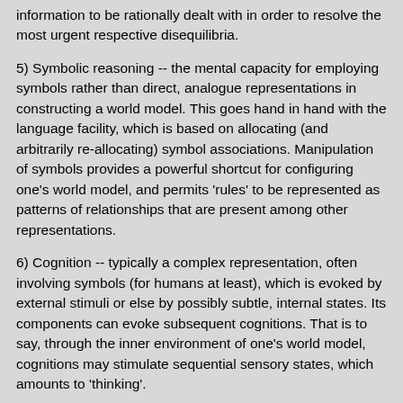information to be rationally dealt with in order to resolve the most urgent respective disequilibria.
5) Symbolic reasoning -- the mental capacity for employing symbols rather than direct, analogue representations in constructing a world model. This goes hand in hand with the language facility, which is based on allocating (and arbitrarily re-allocating) symbol associations. Manipulation of symbols provides a powerful shortcut for configuring one's world model, and permits 'rules' to be represented as patterns of relationships that are present among other representations.
6) Cognition -- typically a complex representation, often involving symbols (for humans at least), which is evoked by external stimuli or else by possibly subtle, internal states. Its components can evoke subsequent cognitions. That is to say, through the inner environment of one's world model, cognitions may stimulate sequential sensory states, which amounts to 'thinking'.
Cats, cows and crows are conscious in possessing representations of their sensory states, including various mental / emotional states. Cognition has them analysing and inferring about their external environments, which is effectively modelled in just that manner, by modifying the arrangement of links among the elements of one's experience. Since they lack symbolic reasoning, animals can't